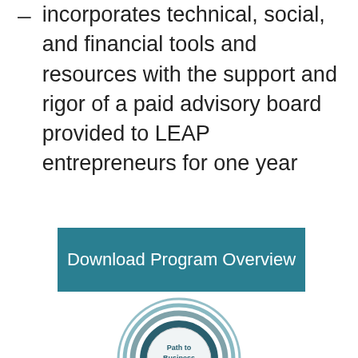incorporates technical, social, and financial tools and resources with the support and rigor of a paid advisory board provided to LEAP entrepreneurs for one year
[Figure (other): Teal rectangle button with white text reading 'Download Program Overview']
[Figure (other): Circular diagram with concentric rings in teal/grey tones and center text 'Path to Business Success']